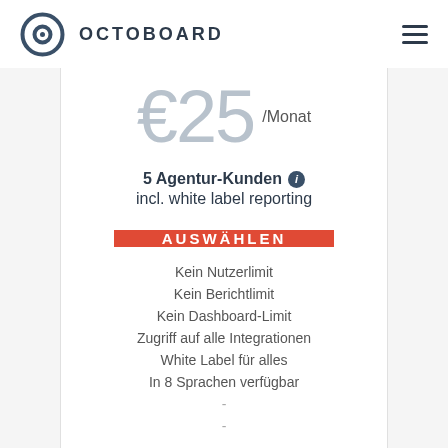OCTOBOARD
€25 /Monat
5 Agentur-Kunden incl. white label reporting
AUSWÄHLEN
Kein Nutzerlimit
Kein Berichtlimit
Kein Dashboard-Limit
Zugriff auf alle Integrationen
White Label für alles
In 8 Sprachen verfügbar
-
-
-